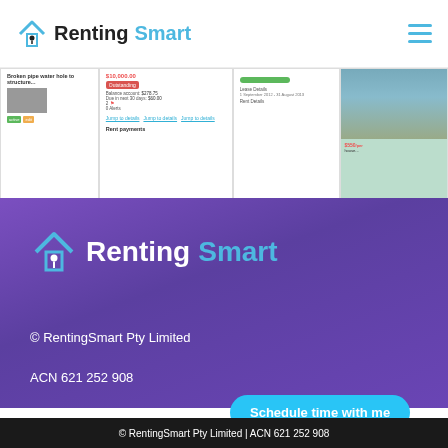[Figure (logo): RentingSmart logo with house icon - white header]
[Figure (screenshot): Screenshot strip showing RentingSmart app UI panels including rent payments and property details]
[Figure (logo): RentingSmart logo with house icon - purple background]
© RentingSmart Pty Limited
ACN 621 252 908
Schedule time with me
© RentingSmart Pty Limited | ACN 621 252 908